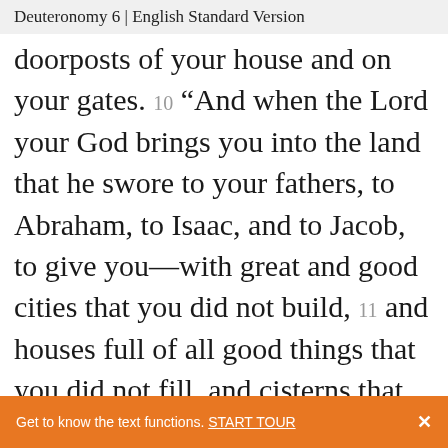Deuteronomy 6 | English Standard Version
doorposts of your house and on your gates. 10 “And when the Lord your God brings you into the land that he swore to your fathers, to Abraham, to Isaac, and to Jacob, to give you—with great and good cities that you did not build, 11 and houses full of all good things that you did not fill, and cisterns that you did not dig, and vineyards and olive trees that you did not plant—and when you eat and
Get to know the text functions. START TOUR